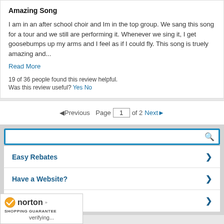Amazing Song
I am in an after school choir and Im in the top group. We sang this song for a tour and we still are performing it. Whenever we sing it, I get goosebumps up my arms and I feel as if I could fly. This song is truely amazing and...
Read More
19 of 36 people found this review helpful.
Was this review useful? Yes No
◄ Previous  Page  1  of  2  Next ►
[Figure (screenshot): Search box with blue border and search icon]
Easy Rebates
Have a Website?
Newsletter
[Figure (logo): Norton Shopping Guarantee badge with checkmark, verifying...]